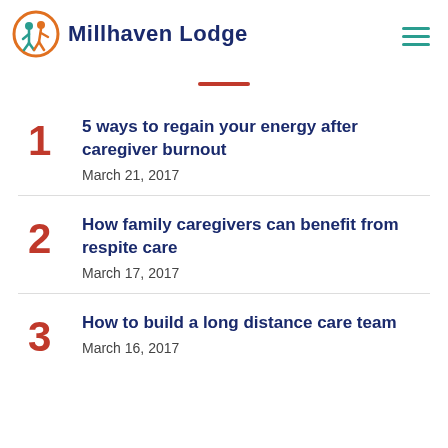Millhaven Lodge
5 ways to regain your energy after caregiver burnout
March 21, 2017
How family caregivers can benefit from respite care
March 17, 2017
How to build a long distance care team
March 16, 2017